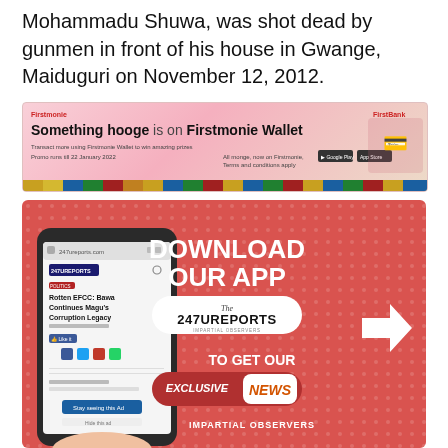Mohammadu Shuwa, was shot dead by gunmen in front of his house in Gwange, Maiduguri on November 12, 2012.
[Figure (infographic): FirstBank Firstmonie Wallet advertisement banner. Text reads: 'Something hooge is on Firstmonie Wallet. Transact more using Firstmonie Wallet to win amazing prizes. Promo runs till 22 January 2022. All monge, now on Firstmonie. Terms and conditions apply.' Decorative colorful bottom strip.]
[Figure (infographic): 247ureports app download advertisement. Red background with dot pattern. Shows a hand holding a smartphone displaying the 247ureports website with article 'Rotten EFCC: Bawa Continues Magu's Corruption Legacy'. Right side text: 'DOWNLOAD OUR APP' with 247UREPORTS logo pill, 'TO GET OUR', 'EXCLUSIVE NEWS' pill, 'IMPARTIAL OBSERVERS'.]